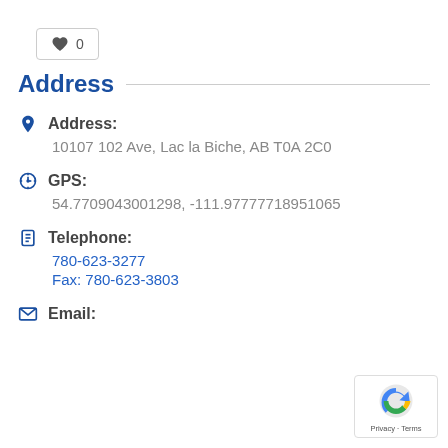[Figure (other): Like/favorite button with heart icon showing count 0]
Address
Address: 10107 102 Ave, Lac la Biche, AB T0A 2C0
GPS: 54.7709043001298, -111.97777718951065
Telephone: 780-623-3277 Fax: 780-623-3803
Email: